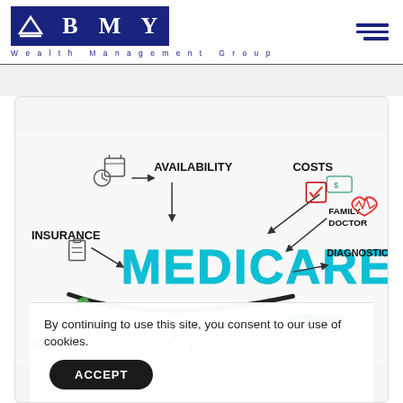[Figure (logo): BMY Wealth Management Group logo with dark blue squares containing a triangle/mountain icon, B, M, Y letters and text below]
[Figure (illustration): Medicare infographic illustration showing a hand writing MEDICARE in blue marker on a whiteboard, surrounded by icons and labels: AVAILABILITY, COSTS, FAMILY DOCTOR, DIAGNOSTICS, INSURANCE, CARE, with arrows pointing outward]
By continuing to use this site, you consent to our use of cookies.
ACCEPT